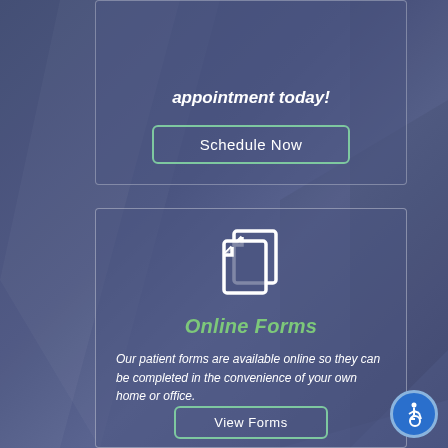appointment today!
Schedule Now
[Figure (illustration): Two overlapping document/form icons in white outline style]
Online Forms
Our patient forms are available online so they can be completed in the convenience of your own home or office.
View Forms